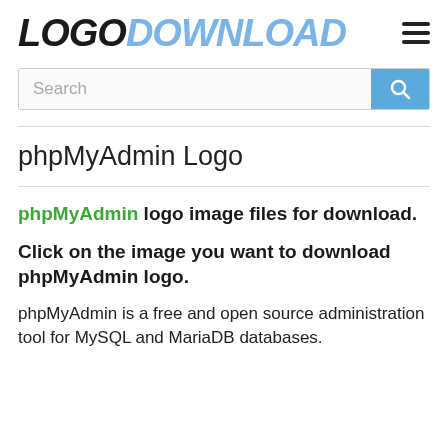LOGODOWNLOAD
[Figure (logo): LOGODOWNLOAD logo with LOGO in dark/black italic bold and DOWNLOAD in light blue italic bold]
Search
phpMyAdmin Logo
phpMyAdmin logo image files for download.
Click on the image you want to download phpMyAdmin logo.
phpMyAdmin is a free and open source administration tool for MySQL and MariaDB databases.